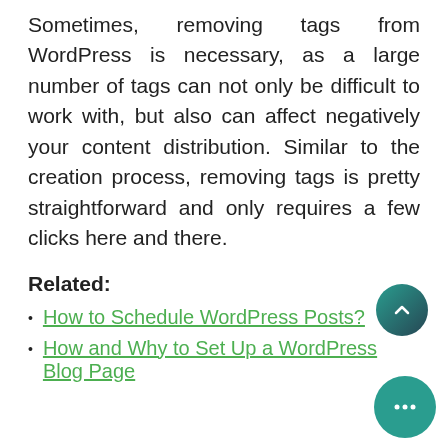Sometimes, removing tags from WordPress is necessary, as a large number of tags can not only be difficult to work with, but also can affect negatively your content distribution. Similar to the creation process, removing tags is pretty straightforward and only requires a few clicks here and there.
Related:
How to Schedule WordPress Posts?
How and Why to Set Up a WordPress Blog Page